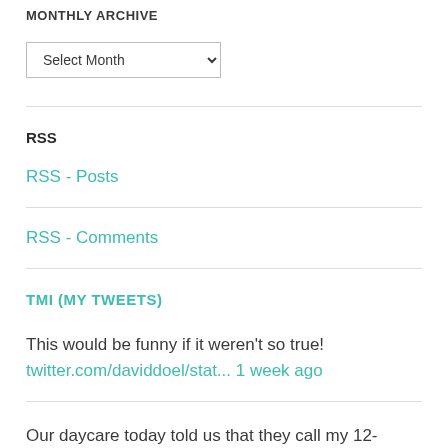MONTHLY ARCHIVE
Select Month
RSS
RSS - Posts
RSS - Comments
TMI (MY TWEETS)
This would be funny if it weren't so true!
twitter.com/daviddoel/stat... 1 week ago
Our daycare today told us that they call my 12-month